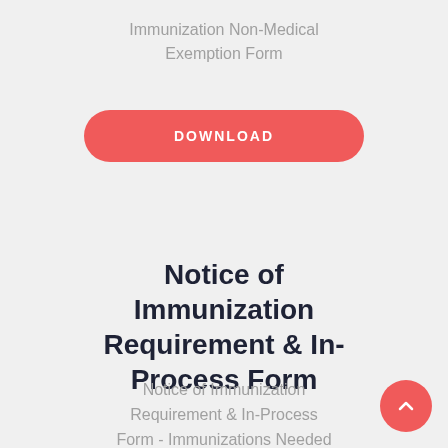Immunization Non-Medical Exemption Form
[Figure (other): Red rounded rectangle download button with white uppercase text 'DOWNLOAD']
Notice of Immunization Requirement & In-Process Form
Notice of Immunization Requirement & In-Process Form - Immunizations Needed